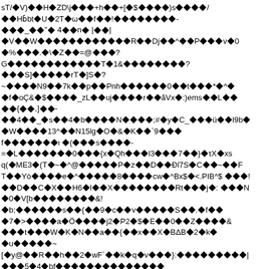Corrupted/encoded binary or garbled text content with diamond replacement characters throughout, representing undecodable binary data rendered as text.